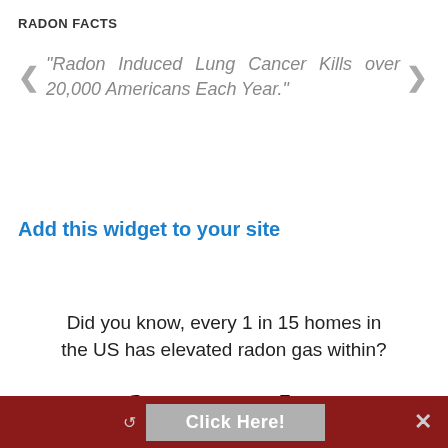RADON FACTS
"Radon Induced Lung Cancer Kills over 20,000 Americans Each Year."
Add this widget to your site
Did you know, every 1 in 15 homes in the US has elevated radon gas within?
Test for Radon
Click Here!